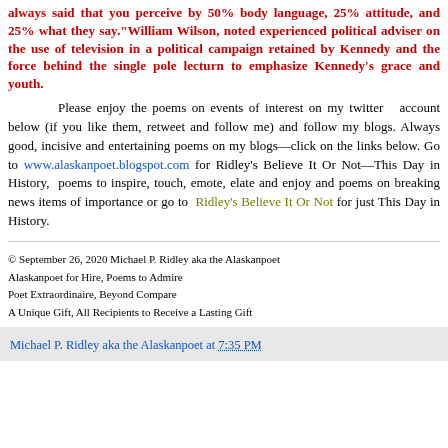always said that you perceive by 50% body language, 25% attitude, and 25% what they say.“William Wilson, noted experienced political adviser on the use of television in a political campaign retained by Kennedy and the force behind the single pole lecturn to emphasize Kennedy’s grace and youth.
Please enjoy the poems on events of interest on my twitter account below (if you like them, retweet and follow me) and follow my blogs. Always good, incisive and entertaining poems on my blogs—click on the links below. Go to www.alaskanpoet.blogspot.com for Ridley’s Believe It Or Not—This Day in History, poems to inspire, touch, emote, elate and enjoy and poems on breaking news items of importance or go to Ridley’s Believe It Or Not for just This Day in History.
© September 26, 2020 Michael P. Ridley aka the Alaskanpoet
Alaskanpoet for Hire, Poems to Admire
Poet Extraordinaire, Beyond Compare
A Unique Gift, All Recipients to Receive a Lasting Gift
Michael P. Ridley aka the Alaskanpoet at 7:35 PM